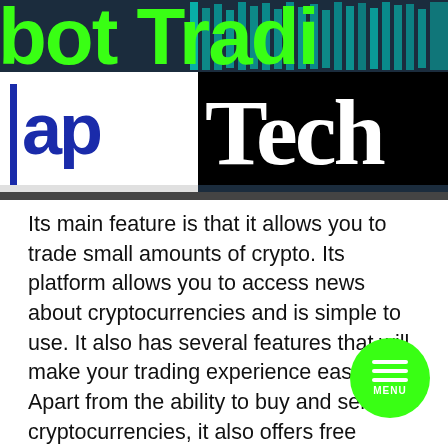[Figure (illustration): Hero banner image showing partial text 'bot Tradi' in bright green on dark background, with AP logo on white panel on left and 'Tech' in white serif font on black panel on right. Decorative teal vertical bars visible in background.]
Its main feature is that it allows you to trade small amounts of crypto. Its platform allows you to access news about cryptocurrencies and is simple to use. It also has several features that will make your trading experience easier. Apart from the ability to buy and sell cryptocurrencies, it also offers free access to a centralized order book. The best cryptocurrency trading apps allow you to track the market's price and manage your assets. Its features are very useful for beginners and experienced investors alike.